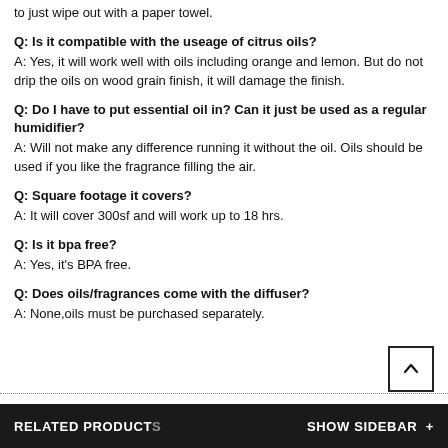to just wipe out with a paper towel.
Q: Is it compatible with the useage of citrus oils?
A: Yes, it will work well with oils including orange and lemon. But do not drip the oils on wood grain finish, it will damage the finish.
Q: Do I have to put essential oil in? Can it just be used as a regular humidifier?
A: Will not make any difference running it without the oil. Oils should be used if you like the fragrance filling the air.
Q: Square footage it covers?
A: It will cover 300sf and will work up to 18 hrs.
Q: Is it bpa free?
A: Yes, it's BPA free.
Q: Does oils/fragrances come with the diffuser?
A: None,oils must be purchased separately.
RELATED PRODUCTS   SHOW SIDEBAR +